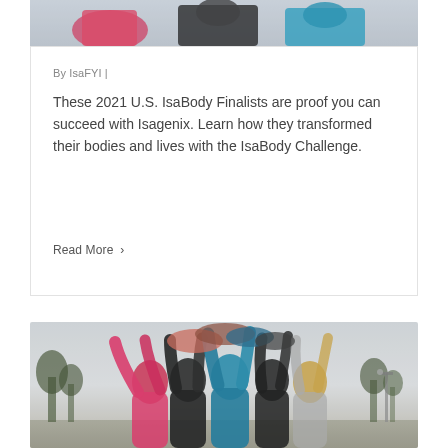[Figure (photo): Top portion of a photo showing people in athletic wear (red, black, teal colors) cropped at top of card]
By IsaFYI |
These 2021 U.S. IsaBody Finalists are proof you can succeed with Isagenix. Learn how they transformed their bodies and lives with the IsaBody Challenge.
Read More >
[Figure (photo): Group of people in colorful athletic wear (pink/red, black, teal) raising hands together in a high-five outdoors in a park setting]